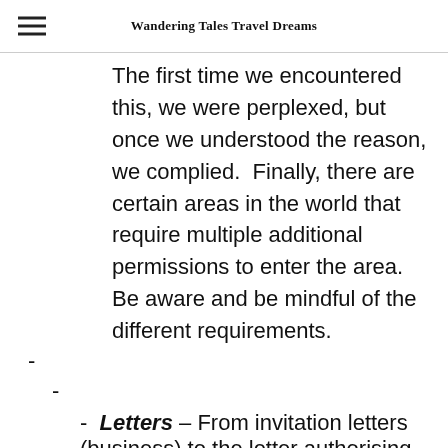Wandering Tales Travel Dreams
The first time we encountered this, we were perplexed, but once we understood the reason, we complied.  Finally, there are certain areas in the world that require multiple additional permissions to enter the area.  Be aware and be mindful of the different requirements.
-
-
- Letters – From invitation letters (business) to the letter authorising